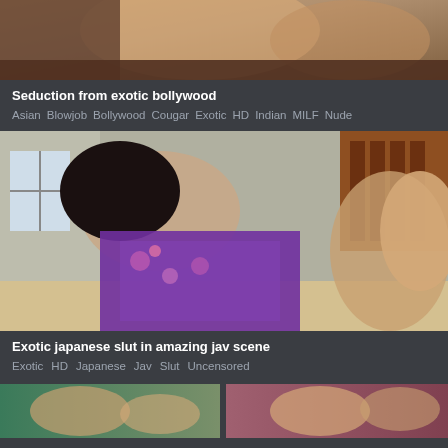[Figure (photo): Partial view of video thumbnail - bollywood scene]
Seduction from exotic bollywood
Asian   Blowjob   Bollywood   Cougar   Exotic   HD   Indian   MILF   Nude
[Figure (photo): Japanese woman in purple/floral kimono in intimate scene]
Exotic japanese slut in amazing jav scene
Exotic   HD   Japanese   Jav   Slut   Uncensored
[Figure (photo): Bottom row partial thumbnails]